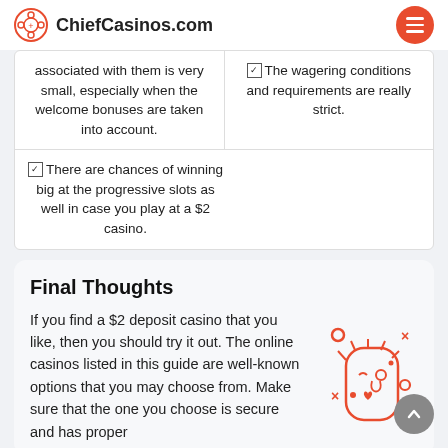ChiefCasinos.com
associated with them is very small, especially when the welcome bonuses are taken into account.
☑ The wagering conditions and requirements are really strict.
☑ There are chances of winning big at the progressive slots as well in case you play at a $2 casino.
Final Thoughts
If you find a $2 deposit casino that you like, then you should try it out. The online casinos listed in this guide are well-known options that you may choose from. Make sure that the one you choose is secure and has proper
[Figure (illustration): Orange line-art illustration of a woman's face with decorative elements including circles and x marks around it]